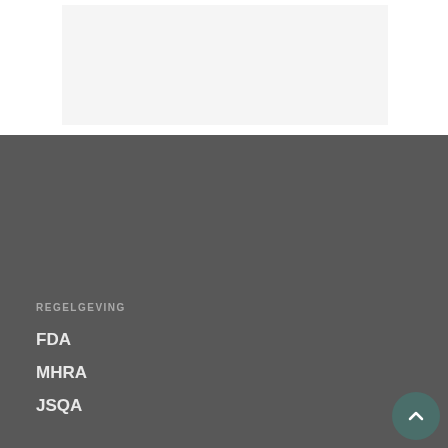[Figure (other): Light gray rectangular placeholder image area at the top of the page]
REGELGEVING
FDA
MHRA
JSQA
RESOURCES
CRO-lijst
Pharmaceutical Companies